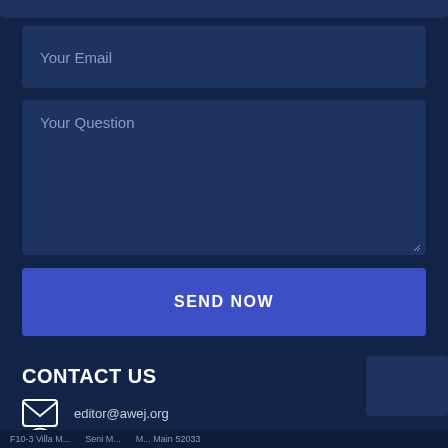[Figure (screenshot): Top partial input field (cropped at top)]
Your Email
Your Question
SEND NOW
CONTACT US
editor@awej.org
10602 Davlee Lane Richmond, Texas, 77407
info@awej.org